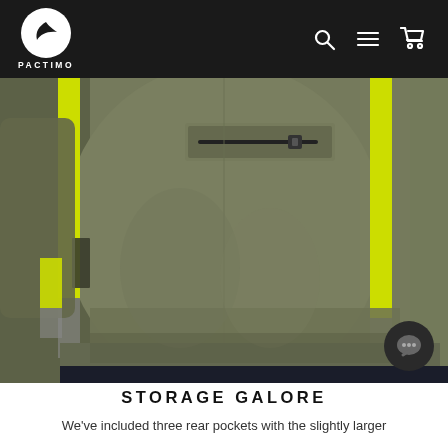PACTIMO
[Figure (photo): Close-up of a cycling jacket back area in olive/army green color with neon yellow reflective stripes on the sides and a zippered chest pocket visible at the top. The jacket has a fitted silhouette and the wearer's dark pants are visible at the bottom.]
STORAGE GALORE
We've included three rear pockets with the slightly larger